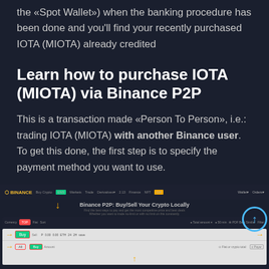the «Spot Wallet») when the banking procedure has been done and you'll find your recently purchased IOTA (MIOTA) already credited
Learn how to purchase IOTA (MIOTA) via Binance P2P
This is a transaction made «Person To Person», i.e.: trading IOTA (MIOTA) with another Binance user. To get this done, the first step is to specify the payment method you want to use.
[Figure (screenshot): Screenshot of Binance P2P: Buy/Sell Your Crypto Locally page with orange arrows pointing to Buy button, crypto pair filter buttons, and a row with input fields and a Sell button. A blue circle with an upward arrow is visible on the right side.]